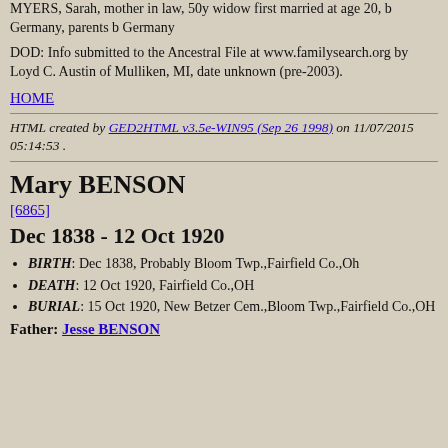MYERS, Sarah, mother in law, 50y widow first married at age 20, b Germany, parents b Germany
DOD: Info submitted to the Ancestral File at www.familysearch.org by Loyd C. Austin of Mulliken, MI, date unknown (pre-2003).
HOME
HTML created by GED2HTML v3.5e-WIN95 (Sep 26 1998) on 11/07/2015 05:14:53 .
Mary BENSON
[6865]
Dec 1838 - 12 Oct 1920
BIRTH: Dec 1838, Probably Bloom Twp.,Fairfield Co.,Oh
DEATH: 12 Oct 1920, Fairfield Co.,OH
BURIAL: 15 Oct 1920, New Betzer Cem.,Bloom Twp.,Fairfield Co.,OH
Father: Jesse BENSON